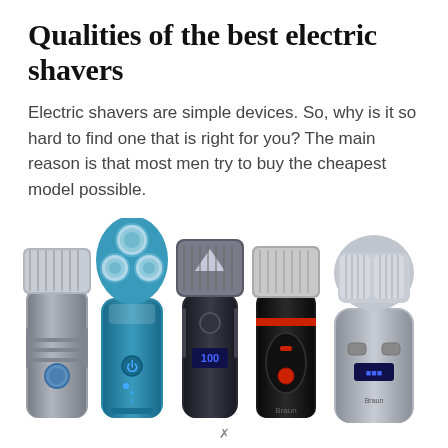Qualities of the best electric shavers
Electric shavers are simple devices. So, why is it so hard to find one that is right for you? The main reason is that most men try to buy the cheapest model possible.
[Figure (photo): Five electric shavers shown side by side: a silver foil shaver, a blue rotary shaver, a dark chrome foil shaver, a black and red foil shaver (Braun), and a silver/grey foil shaver.]
✗